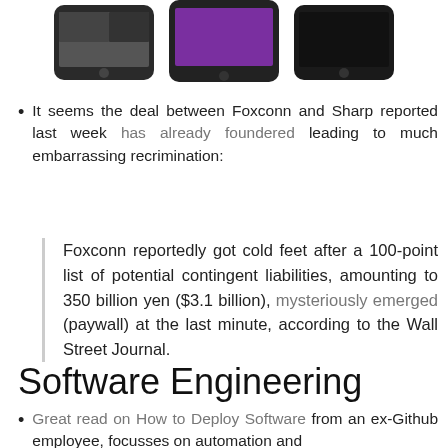[Figure (photo): Three smartphones shown side by side, partially cropped at top of page]
It seems the deal between Foxconn and Sharp reported last week has already foundered leading to much embarrassing recrimination:
Foxconn reportedly got cold feet after a 100-point list of potential contingent liabilities, amounting to 350 billion yen ($3.1 billion), mysteriously emerged (paywall) at the last minute, according to the Wall Street Journal.
Software Engineering
Great read on How to Deploy Software from an ex-Github employee, focusses on automation and